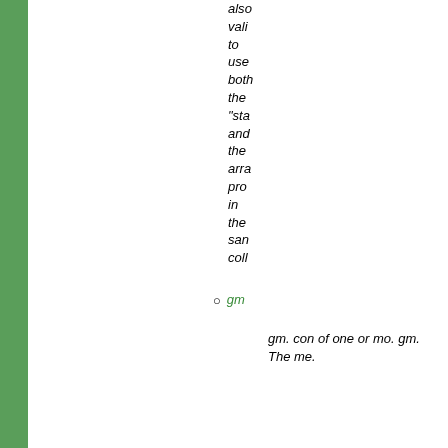also valid to use both the "sta and the arra pro in the san coll
gm gm con of one or mo gm The me